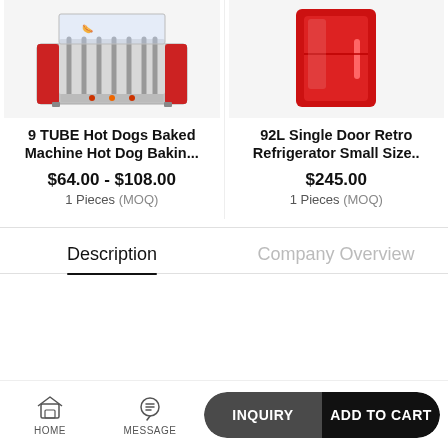[Figure (photo): Red 9-tube hot dog roller baking machine with glass cover]
[Figure (photo): Red 92L single door retro refrigerator, small size]
9 TUBE Hot Dogs Baked Machine Hot Dog Bakin...
$64.00 - $108.00
1 Pieces (MOQ)
92L Single Door Retro Refrigerator Small Size..
$245.00
1 Pieces (MOQ)
Description
Company Overview
HOME   MESSAGE   INQUIRY   ADD TO CART